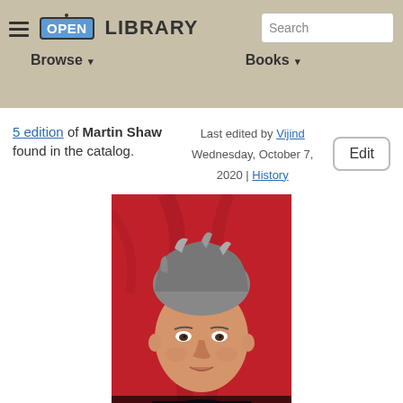OPEN LIBRARY — Search | Browse | Books
5 edition of Martin Shaw found in the catalog.
Last edited by Vijind
Wednesday, October 7, 2020 | History
Edit
[Figure (photo): Book cover of 'Martin Shaw: The Biography' showing a man with grey hair against a red background, with title text 'MARTIN SHAW THE BIOGRAPHY' at the bottom]